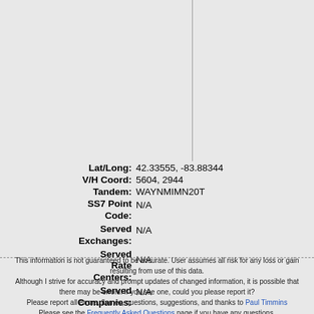Lat/Long: 42.33555, -83.88344
V/H Coord: 5604, 2944
Tandem: WAYNMIMN20T
SS7 Point Code: N/A
Served Exchanges: N/A
Served Rate Centers: N/A
Served Companies: N/A
This information is not guaranteed to be accurate. User assumes all risk for any loss or gain resulting from use of this data. Although I strive for accuracy and prompt updates of changed information, it is possible that there may be errors. If you see one, could you please report it? Please report all errors, flames, questions, suggestions, and thanks to Paul Timmins Please see the Frequently Asked Questions page if you have any questions. Copyright ©2001-2021, Paul Timmins/Timmins Technologies, LLC. All rights reserved